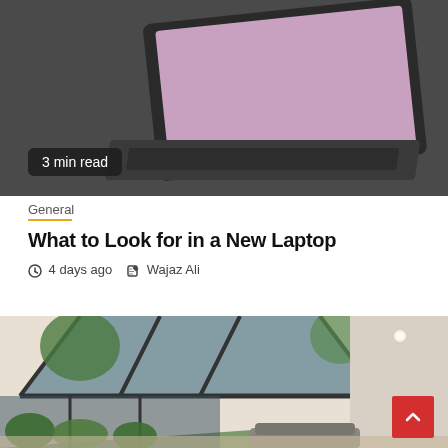[Figure (photo): Laptop computer on dark grey background]
3 min read
General
What to Look for in a New Laptop
4 days ago  Wajaz Ali
[Figure (photo): Modern room with large glass ceiling/skylight windows and garden view]